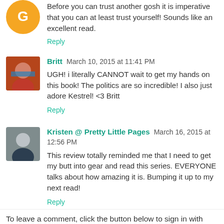Before you can trust another gosh it is imperative that you can at least trust yourself! Sounds like an excellent read.
Reply
Britt March 10, 2015 at 11:41 PM
UGH! i literally CANNOT wait to get my hands on this book! The politics are so incredible! I also just adore Kestrel! <3 Britt
Reply
Kristen @ Pretty Little Pages March 16, 2015 at 12:56 PM
This review totally reminded me that I need to get my butt into gear and read this series. EVERYONE talks about how amazing it is. Bumping it up to my next read!
Reply
To leave a comment, click the button below to sign in with Google.